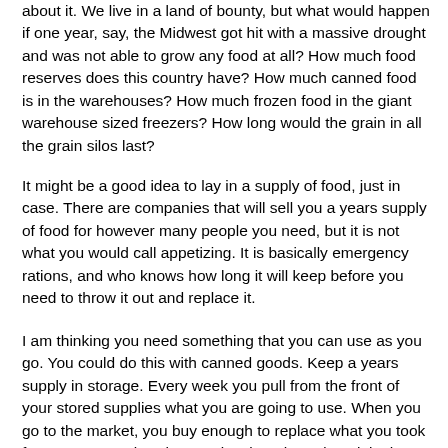about it. We live in a land of bounty, but what would happen if one year, say, the Midwest got hit with a massive drought and was not able to grow any food at all? How much food reserves does this country have? How much canned food is in the warehouses? How much frozen food in the giant warehouse sized freezers? How long would the grain in all the grain silos last?
It might be a good idea to lay in a supply of food, just in case. There are companies that will sell you a years supply of food for however many people you need, but it is not what you would call appetizing. It is basically emergency rations, and who knows how long it will keep before you need to throw it out and replace it.
I am thinking you need something that you can use as you go. You could do this with canned goods. Keep a years supply in storage. Every week you pull from the front of your stored supplies what you are going to use. When you go to the market, you buy enough to replace what you took from storage. Take what you just bought and put it in the back. This way you would constantly be updating your stored